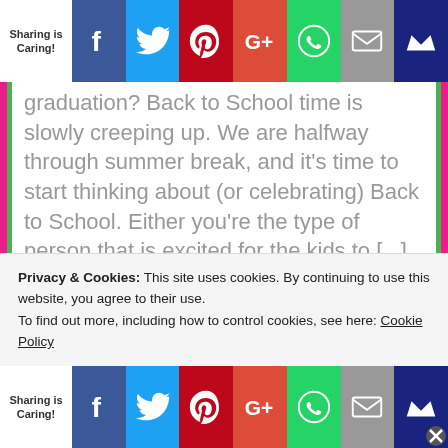[Figure (infographic): Social sharing bar at top with Sharing is Caring label, Facebook, Twitter, Pinterest, Google+, WhatsApp, Email, Crown buttons]
graduation? Back to School time is slowly creeping up. We are halfway through summer break, and it's time to start thinking about (or celebrating) Back to School. Either you're the type of person that is excited for the kids to [...]
Filed Under: Fashion + Beauty, Kids
Tagged With: 5 Smart School Uniform Shopping Tips Shopping, back to school, Back to School Shopping, Children, Kids, Money, Sale, Save, school, School Uniforms, Uniforms
Privacy & Cookies: This site uses cookies. By continuing to use this website, you agree to their use.
To find out more, including how to control cookies, see here: Cookie Policy
[Figure (infographic): Social sharing bar at bottom with Sharing is Caring label, Facebook, Twitter, Pinterest, Google+, WhatsApp, Email, Crown buttons]